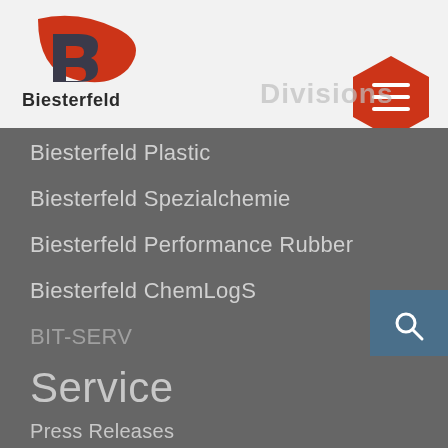[Figure (logo): Biesterfeld company logo with red swoosh and B letter mark, with 'Biesterfeld' text in dark gray below]
Divisions
Biesterfeld Plastic
Biesterfeld Spezialchemie
Biesterfeld Performance Rubber
Biesterfeld ChemLogS
BIT-SERV
b.yond ventures
Service
Press Releases